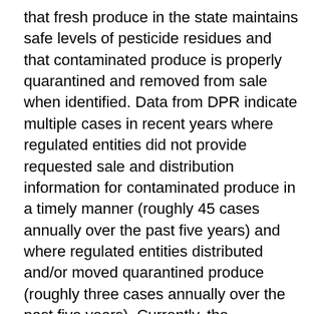that fresh produce in the state maintains safe levels of pesticide residues and that contaminated produce is properly quarantined and removed from sale when identified. Data from DPR indicate multiple cases in recent years where regulated entities did not provide requested sale and distribution information for contaminated produce in a timely manner (roughly 45 cases annually over the past five years) and where regulated entities distributed and/or moved quarantined produce (roughly three cases annually over the past five years). Currently, the department does not have the authority to enforce these actions other than through resource-intensive court proceedings. Accordingly, we find it reasonable to provide DPR with the authority to (1) require entities to provide sale and distribution information, (2) levy administrative penalties for failing to produce such records, and (3) levy administrative penalties for